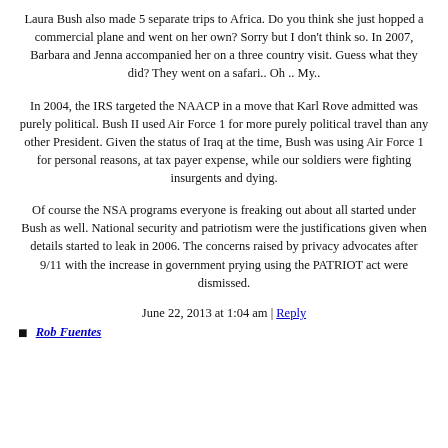Laura Bush also made 5 separate trips to Africa. Do you think she just hopped a commercial plane and went on her own? Sorry but I don't think so. In 2007, Barbara and Jenna accompanied her on a three country visit. Guess what they did? They went on a safari.. Oh .. My..
In 2004, the IRS targeted the NAACP in a move that Karl Rove admitted was purely political. Bush II used Air Force 1 for more purely political travel than any other President. Given the status of Iraq at the time, Bush was using Air Force 1 for personal reasons, at tax payer expense, while our soldiers were fighting insurgents and dying.
Of course the NSA programs everyone is freaking out about all started under Bush as well. National security and patriotism were the justifications given when details started to leak in 2006. The concerns raised by privacy advocates after 9/11 with the increase in government prying using the PATRIOT act were dismissed.
June 22, 2013 at 1:04 am | Reply
Rob Fuentes